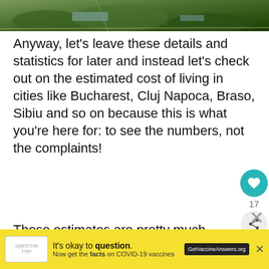[Figure (photo): Aerial or landscape photo showing trees and outdoor area, partially visible at top of page]
Anyway, let’s leave these details and statistics for later and instead let’s check out on the estimated cost of living in cities like Bucharest, Cluj Napoca, Braso, Sibiu and so on because this is what you’re here for: to see the numbers, not the complaints!
These estimates are pretty much valid for all cities in Romania, actually, but you should still expect the smaller ones to be a bit cheaper than the larger ones especially the ones that are most too
[Figure (infographic): Advertisement banner: yellow background with COVID-19 vaccine information. Text: It’s okay to question. Now get the facts on COVID-19 vaccines. GetVaccineAnswers.org]